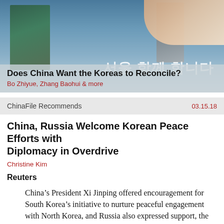[Figure (photo): Photo banner showing people walking in front of Korean text signage, with a hand visible in upper right. Overlaid with semi-transparent banner containing article title and authors.]
Does China Want the Koreas to Reconcile?
Bo Zhiyue, Zhang Baohui & more
ChinaFile Recommends
03.15.18
China, Russia Welcome Korean Peace Efforts with Diplomacy in Overdrive
Christine Kim
Reuters
China’s President Xi Jinping offered encouragement for South Korea’s initiative to nurture peaceful engagement with North Korea, and Russia also expressed support, the South Korean official leading diplomatic efforts said on Thursday.